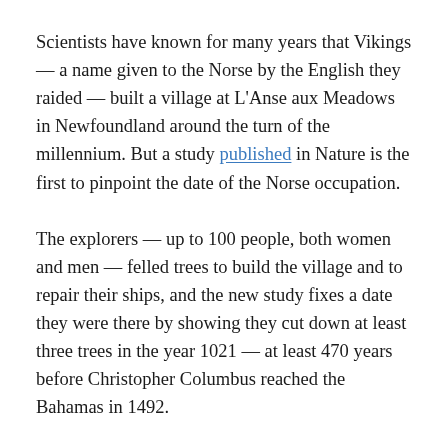Scientists have known for many years that Vikings — a name given to the Norse by the English they raided — built a village at L'Anse aux Meadows in Newfoundland around the turn of the millennium. But a study published in Nature is the first to pinpoint the date of the Norse occupation.
The explorers — up to 100 people, both women and men — felled trees to build the village and to repair their ships, and the new study fixes a date they were there by showing they cut down at least three trees in the year 1021 — at least 470 years before Christopher Columbus reached the Bahamas in 1492.
“This is the first time the date has been scientifically